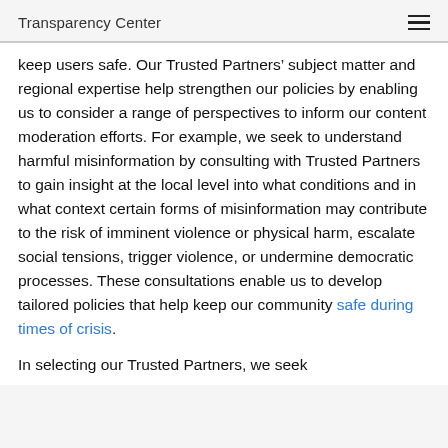Transparency Center
keep users safe. Our Trusted Partners' subject matter and regional expertise help strengthen our policies by enabling us to consider a range of perspectives to inform our content moderation efforts. For example, we seek to understand harmful misinformation by consulting with Trusted Partners to gain insight at the local level into what conditions and in what context certain forms of misinformation may contribute to the risk of imminent violence or physical harm, escalate social tensions, trigger violence, or undermine democratic processes. These consultations enable us to develop tailored policies that help keep our community safe during times of crisis.
In selecting our Trusted Partners, we seek